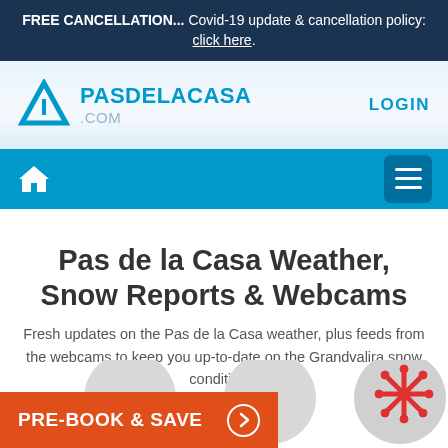FREE CANCELLATION... Covid-19 update & cancellation policy: click here.
[Figure (logo): PasdelaCasa.com logo with blue mountain/triangle icon and blue text PASDELACASA.COM]
LOGIN
[Figure (infographic): Blue navigation bar with white home icon on left and dark blue hamburger menu button on right]
Pas de la Casa Weather, Snow Reports & Webcams
Fresh updates on the Pas de la Casa weather, plus feeds from the webcams to keep you up-to-date on the Grandvalira snow conditions!
[Figure (infographic): Orange PRE-BOOK & SAVE button with circular arrow icon, and gray circle icons with snowflake symbol on the right]